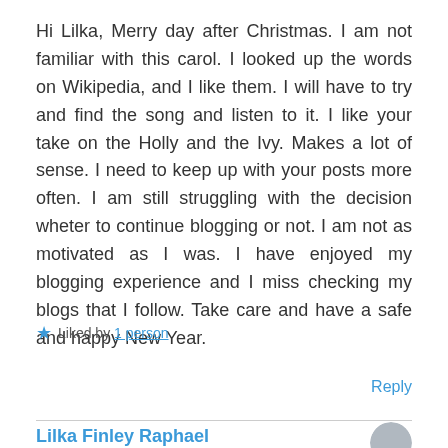Hi Lilka, Merry day after Christmas. I am not familiar with this carol. I looked up the words on Wikipedia, and I like them. I will have to try and find the song and listen to it. I like your take on the Holly and the Ivy. Makes a lot of sense. I need to keep up with your posts more often. I am still struggling with the decision wheter to continue blogging or not. I am not as motivated as I was. I have enjoyed my blogging experience and I miss checking my blogs that I follow. Take care and have a safe and happy New Year.
Liked by 1 person
Reply
Lilka Finley Raphael